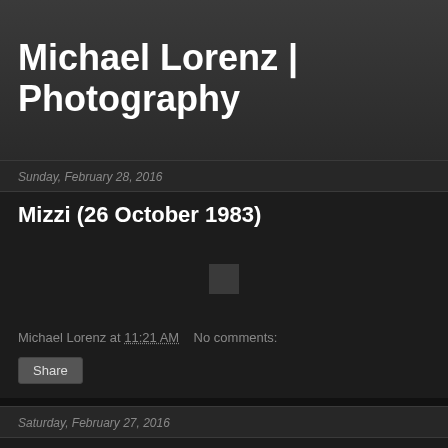Michael Lorenz | Photography
Sunday, February 28, 2016
Mizzi (26 October 1983)
[Figure (photo): Small dark thumbnail image placeholder]
Michael Lorenz at 11:21 AM   No comments:
Share
Saturday, February 27, 2016
Arthur, May 2011